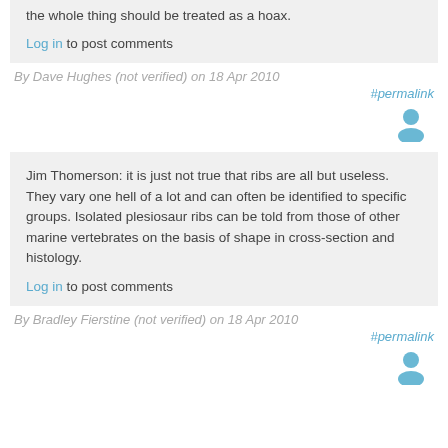the whole thing should be treated as a hoax.
Log in to post comments
By Dave Hughes (not verified) on 18 Apr 2010
#permalink
Jim Thomerson: it is just not true that ribs are all but useless. They vary one hell of a lot and can often be identified to specific groups. Isolated plesiosaur ribs can be told from those of other marine vertebrates on the basis of shape in cross-section and histology.
Log in to post comments
By Bradley Fierstine (not verified) on 18 Apr 2010
#permalink